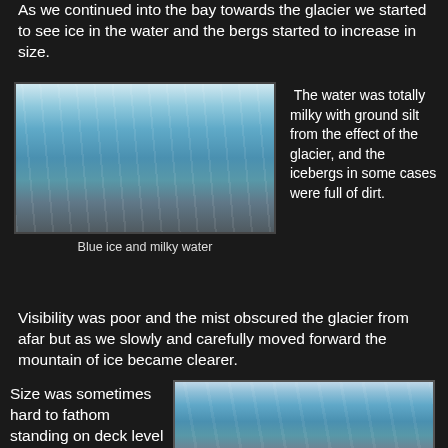As we continued into the bay towards the glacier we started to see ice in the water and the bergs started to increase in size.
[Figure (photo): Photograph of blue glacier ice face with milky water in the foreground]
Blue ice and milky water
The water was totally milky with ground silt from the effect of the glacier, and the icebergs in some cases were full of dirt.
Visibility was poor and the mist obscured the glacier from afar but as we slowly and carefully moved forward the mountain of ice became clearer.
Size was sometimes hard to fathom standing on deck level 11 on a 70
[Figure (photo): Photograph of glacier ice wall with jagged blue ice chunks]
The glacier was shedding bergs during our stay